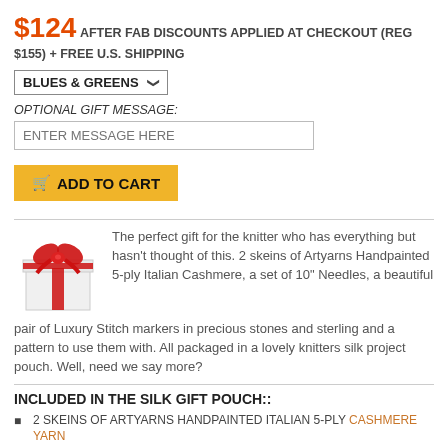$124 AFTER FAB DISCOUNTS APPLIED AT CHECKOUT (REG $155) + FREE U.S. SHIPPING
BLUES & GREENS (dropdown)
OPTIONAL GIFT MESSAGE:
ENTER MESSAGE HERE (input placeholder)
ADD TO CART (button)
The perfect gift for the knitter who has everything but hasn't thought of this. 2 skeins of Artyarns Handpainted 5-ply Italian Cashmere, a set of 10" Needles, a beautiful pair of Luxury Stitch markers in precious stones and sterling and a pattern to use them with. All packaged in a lovely knitters silk project pouch. Well, need we say more?
INCLUDED IN THE SILK GIFT POUCH::
2 SKEINS OF ARTYARNS HANDPAINTED ITALIAN 5-PLY CASHMERE YARN
CASHMERE SCARF PATTERN FROM ARTYARNS
A PAIR OF BRITTANY OR SURINA KNITTING NEEDLES